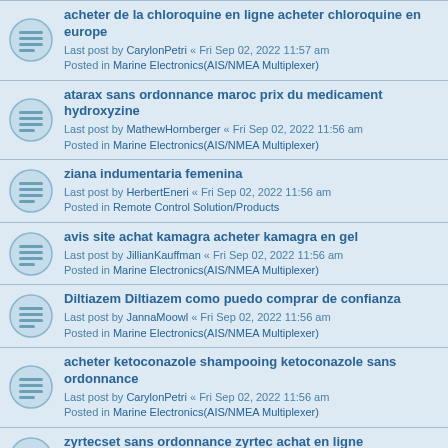acheter de la chloroquine en ligne acheter chloroquine en europe
Last post by CarylonPetri « Fri Sep 02, 2022 11:57 am
Posted in Marine Electronics(AIS/NMEA Multiplexer)
atarax sans ordonnance maroc prix du medicament hydroxyzine
Last post by MathewHornberger « Fri Sep 02, 2022 11:56 am
Posted in Marine Electronics(AIS/NMEA Multiplexer)
ziana indumentaria femenina
Last post by HerbertEneri « Fri Sep 02, 2022 11:56 am
Posted in Remote Control Solution/Products
avis site achat kamagra acheter kamagra en gel
Last post by JillianKauffman « Fri Sep 02, 2022 11:56 am
Posted in Marine Electronics(AIS/NMEA Multiplexer)
Diltiazem Diltiazem como puedo comprar de confianza
Last post by JannaMoowl « Fri Sep 02, 2022 11:56 am
Posted in Marine Electronics(AIS/NMEA Multiplexer)
acheter ketoconazole shampooing ketoconazole sans ordonnance
Last post by CarylonPetri « Fri Sep 02, 2022 11:56 am
Posted in Marine Electronics(AIS/NMEA Multiplexer)
zyrtecset sans ordonnance zyrtec achat en ligne
Last post by MathewHornberger « Fri Sep 02, 2022 11:56 am
Posted in Marine Electronics(AIS/NMEA Multiplexer)
arimidex pharmacie anastrozole prix arimidex
Last post by MathewHornberger « Fri Sep 02, 2022 11:55 am
Posted in Marine Electronics(AIS/NMEA Multiplexer)